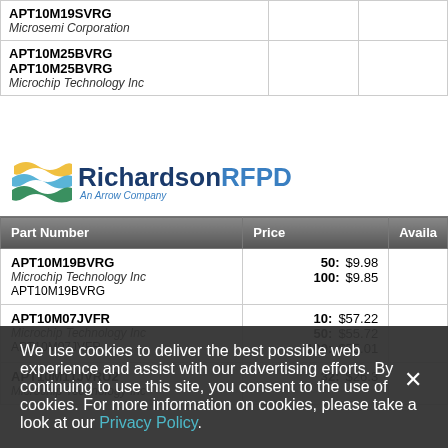| Part Number |  |  |
| --- | --- | --- |
| APT10M19SVRG
Microsemi Corporation |  |  |
| APT10M25BVRG
APT10M25BVRG
Microchip Technology Inc |  |  |
[Figure (logo): RichardsonRFPD - An Arrow Company logo with wave graphic]
| Part Number | Price | Avail |
| --- | --- | --- |
| APT10M19BVRG
Microchip Technology Inc
APT10M19BVRG | 50: $9.98
100: $9.85 |  |
| APT10M07JVFR
Microchip Technology Inc
APT10M07JVFR | 10: $57.22
50: $55.72
100: $55.01 |  |
| APT10M11JVRU2
Microchip Technology Inc | 32: $26.3 |  |
We use cookies to deliver the best possible web experience and assist with our advertising efforts. By continuing to use this site, you consent to the use of cookies. For more information on cookies, please take a look at our Privacy Policy.